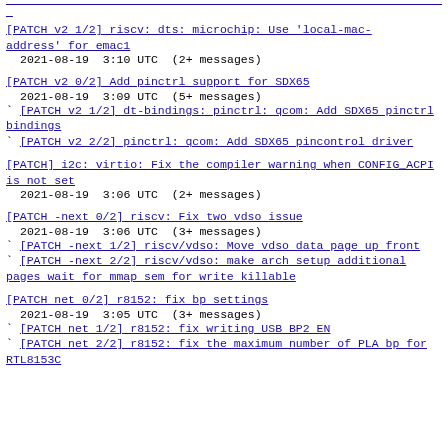[PATCH v2 1/2] riscv: dts: microchip: Use 'local-mac-address' for emac1
2021-08-19  3:10 UTC  (2+ messages)
[PATCH v2 0/2] Add pinctrl support for SDX65
2021-08-19  3:09 UTC  (5+ messages)
` [PATCH v2 1/2] dt-bindings: pinctrl: qcom: Add SDX65 pinctrl bindings
` [PATCH v2 2/2] pinctrl: qcom: Add SDX65 pincontrol driver
[PATCH] i2c: virtio: Fix the compiler warning when CONFIG_ACPI is not set
2021-08-19  3:06 UTC  (2+ messages)
[PATCH -next 0/2] riscv: Fix two vdso issue
2021-08-19  3:06 UTC  (3+ messages)
` [PATCH -next 1/2] riscv/vdso: Move vdso data page up front
` [PATCH -next 2/2] riscv/vdso: make arch setup additional pages wait for mmap sem for write killable
[PATCH net 0/2] r8152: fix bp settings
2021-08-19  3:05 UTC  (3+ messages)
` [PATCH net 1/2] r8152: fix writing USB BP2 EN
` [PATCH net 2/2] r8152: fix the maximum number of PLA bp for RTL8153C